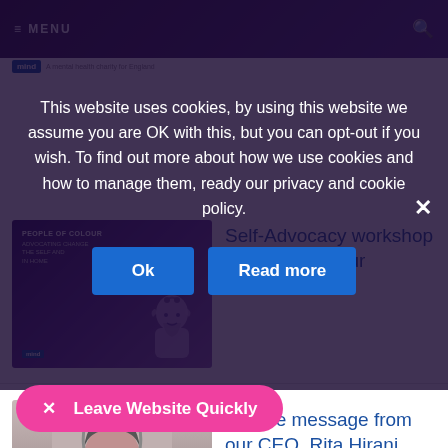This website uses cookies, by using this website we assume you are OK with this, but you can opt-out if you wish. To find out more about how we use cookies and how to manage them, ready our privacy and cookie policy.
[Figure (screenshot): Cookie consent overlay with Ok and Read more buttons over a mental health charity website showing articles including People of Colour self-advocacy workshop and a Pride message from CEO Rita Hirani]
Self-Advocacy workshop for ... of Colour
11/08/2022
A Pride message from our CEO, Rita Hirani
29/06/2022
What is our Online Support Service all about?
29/06/2022
✕  Leave Website Quickly